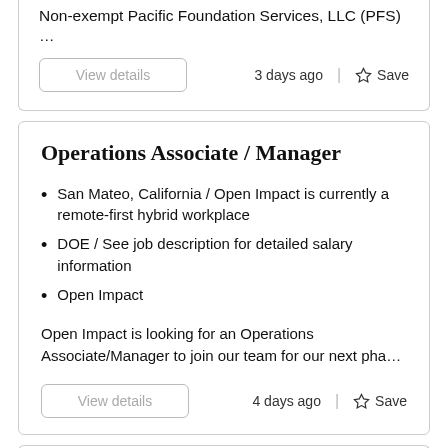Non-exempt Pacific Foundation Services, LLC (PFS) …
3 days ago
Save
Operations Associate / Manager
San Mateo, California / Open Impact is currently a remote-first hybrid workplace
DOE / See job description for detailed salary information
Open Impact
Open Impact is looking for an Operations Associate/Manager to join our team for our next pha…
4 days ago
Save